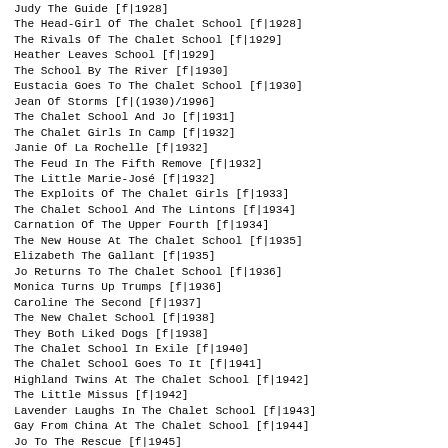Judy The Guide [f|1928]
The Head-Girl Of The Chalet School [f|1928]
The Rivals Of The Chalet School [f|1929]
Heather Leaves School [f|1929]
The School By The River [f|1930]
Eustacia Goes To The Chalet School [f|1930]
Jean Of Storms [f|(1930)/1996]
The Chalet School And Jo [f|1931]
The Chalet Girls In Camp [f|1932]
Janie Of La Rochelle [f|1932]
The Feud In The Fifth Remove [f|1932]
The Little Marie-José [f|1932]
The Exploits Of The Chalet Girls [f|1933]
The Chalet School And The Lintons [f|1934]
Carnation Of The Upper Fourth [f|1934]
The New House At The Chalet School [f|1935]
Elizabeth The Gallant [f|1935]
Jo Returns To The Chalet School [f|1936]
Monica Turns Up Trumps [f|1936]
Caroline The Second [f|1937]
The New Chalet School [f|1938]
They Both Liked Dogs [f|1938]
The Chalet School In Exile [f|1940]
The Chalet School Goes To It [f|1941]
Highland Twins At The Chalet School [f|1942]
The Little Missus [f|1942]
Lavender Laughs In The Chalet School [f|1943]
Gay From China At The Chalet School [f|1944]
Jo To The Rescue [f|1945]
The Lost Staircase [f|1946]
Lorna At Wynyards [f|1947]